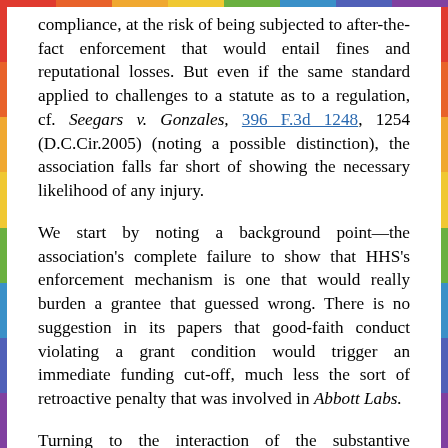compliance, at the risk of being subjected to after-the-fact enforcement that would entail fines and reputational losses. But even if the same standard applied to challenges to a statute as to a regulation, cf. Seegars v. Gonzales, 396 F.3d 1248, 1254 (D.C.Cir.2005) (noting a possible distinction), the association falls far short of showing the necessary likelihood of any injury.
We start by noting a background point—the association's complete failure to show that HHS's enforcement mechanism is one that would really burden a grantee that guessed wrong. There is no suggestion in its papers that good-faith conduct violating a grant condition would trigger an immediate funding cut-off, much less the sort of retroactive penalty that was involved in Abbott Labs.
Turning to the interaction of the substantive provisions themselves, we must look separately at